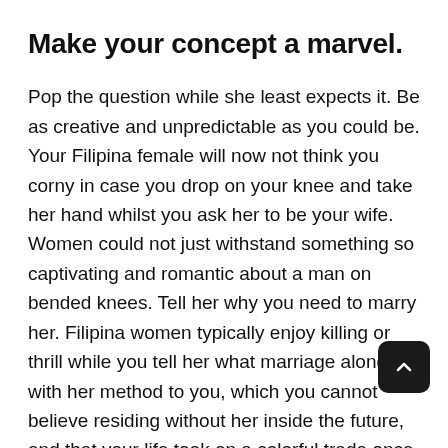Make your concept a marvel.
Pop the question while she least expects it. Be as creative and unpredictable as you could be. Your Filipina female will now not think you corny in case you drop on your knee and take her hand whilst you ask her to be your wife. Women could not just withstand something so captivating and romantic about a man on bended knees. Tell her why you need to marry her. Filipina women typically enjoy killing or thrill while you tell her what marriage along with her method to you, which you cannot believe residing without her inside the future, and that your life took on a colorful trade once you met her. However, be sincere with your emotions. Do no longer say belongings you do no longer simply due to recall; she looks at marriage as a lifelong commitment. Make positive of your feelings first